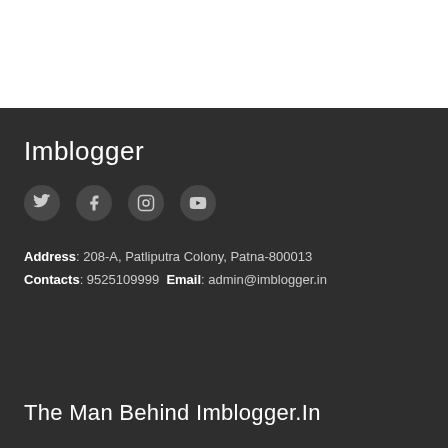Imblogger
[Figure (other): Social media icons: Twitter, Facebook, Instagram, YouTube in dark circular buttons]
Address: 208-A, Patliputra Colony, Patna-800013
Contacts: 9525109999 Email: admin@imblogger.in
The Man Behind Imblogger.In